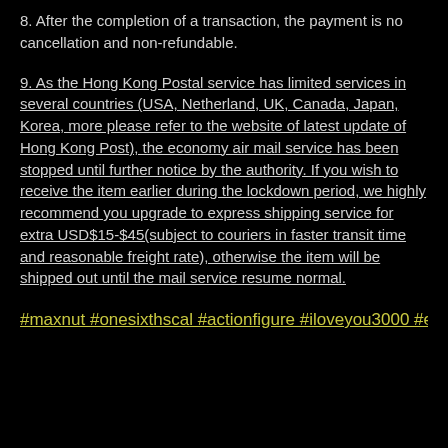8. After the completion of a transaction, the payment is no cancellation and non-refundable.
9. As the Hong Kong Postal service has limited services in several countries (USA, Netherland, UK, Canada, Japan, Korea, more please refer to the website of latest update of Hong Kong Post), the economy air mail service has been stopped until further notice by the authority. If you wish to receive the item earlier during the lockdown period, we highly recommend you upgrade to express shipping service for extra USD$15-$45(subject to couriers in faster transit time and reasonable freight rate), otherwise the item will be shipped out until the mail service resume normal.
#maxnut #onesixthscal #actionfigure #iloveyou3000 #endgar